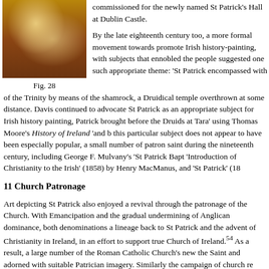[Figure (photo): A painting depicting figures, likely a historical Irish scene related to St Patrick, shown as Fig. 28]
Fig. 28
commissioned for the newly named St Patrick's Hall at Dublin Castle.
By the late eighteenth century too, a more formal movement towards promote Irish history-painting, with subjects that ennobled the people suggested one such appropriate theme: 'St Patrick encompassed with of the Trinity by means of the shamrock, a Druidical temple overthrown at some distance. Davis continued to advocate St Patrick as an appropriate subject for Irish history painting, Patrick brought before the Druids at Tara' using Thomas Moore's History of Ireland 'and b this particular subject does not appear to have been especially popular, a small number of patron saint during the nineteenth century, including George F. Mulvany's 'St Patrick Bapt 'Introduction of Christianity to the Irish' (1858) by Henry MacManus, and 'St Patrick' (18
11 Church Patronage
Art depicting St Patrick also enjoyed a revival through the patronage of the Church. With Emancipation and the gradual undermining of Anglican dominance, both denominations a lineage back to St Patrick and the advent of Christianity in Ireland, in an effort to support true Church of Ireland.54 As a result, a large number of the Roman Catholic Church's new the Saint and adorned with suitable Patrician imagery. Similarly the campaign of church re undertaken by the Church of Ireland incorporated images in glass and stone of the patron s were mass produced and of questionable quality, although a few works were produced by o